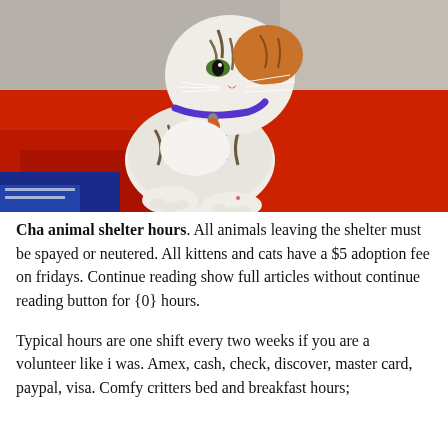[Figure (photo): A tabby and white cat with a purple collar sitting on a red blanket, looking to the side. The cat has striped markings and visible whiskers.]
Cha animal shelter hours. All animals leaving the shelter must be spayed or neutered. All kittens and cats have a $5 adoption fee on fridays. Continue reading show full articles without continue reading button for {0} hours.
Typical hours are one shift every two weeks if you are a volunteer like i was. Amex, cash, check, discover, master card, paypal, visa. Comfy critters bed and breakfast hours;